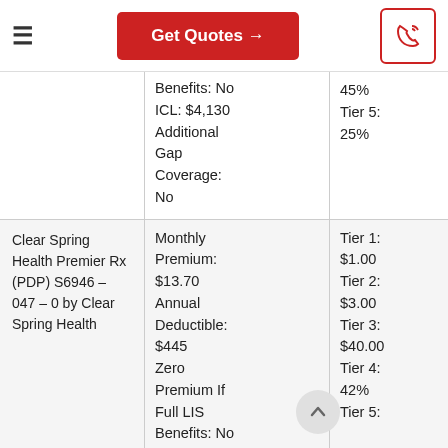Get Quotes →
| Plan Name | Plan Details | Drug Tiers |
| --- | --- | --- |
|  | Benefits: No
ICL: $4,130
Additional Gap Coverage: No | 45%
Tier 5: 25% |
| Clear Spring Health Premier Rx (PDP) S6946 – 047 – 0 by Clear Spring Health | Monthly Premium: $13.70
Annual Deductible: $445
Zero Premium If Full LIS Benefits: No
ICL: $4,130 | Tier 1: $1.00
Tier 2: $3.00
Tier 3: $40.00
Tier 4: 42%
Tier 5: |